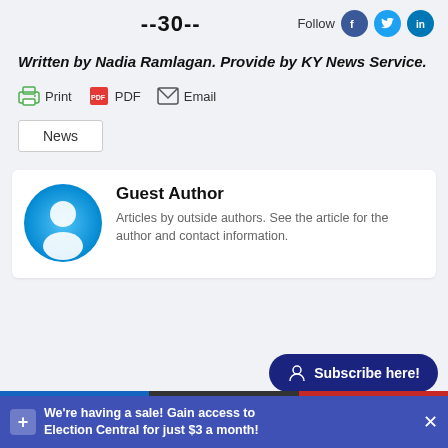--30--
[Figure (logo): Social media follow icons: Facebook, Twitter, LinkedIn]
Written by Nadia Ramlagan. Provide by KY News Service.
[Figure (infographic): Print, PDF, Email action buttons with icons]
News
[Figure (infographic): Guest Author avatar - blue circular icon with person silhouette]
Guest Author
Articles by outside authors. See the article for the author and contact information.
Subscribe here!
We're having a sale! Gain access to Election Central for just $3 a month!